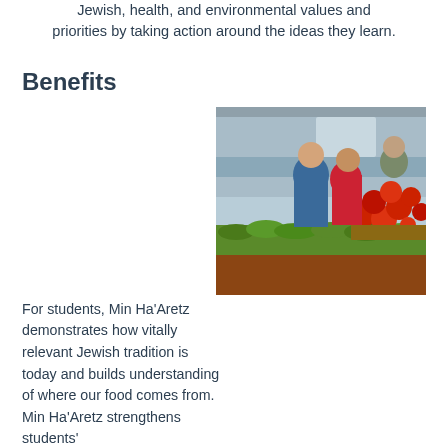Jewish, health, and environmental values and priorities by taking action around the ideas they learn.
Benefits
[Figure (photo): Children looking at produce (tomatoes, green vegetables) at a market or farm stand]
For students, Min Ha'Aretz demonstrates how vitally relevant Jewish tradition is today and builds understanding of where our food comes from. Min Ha'Aretz strengthens students' Jewish identity by linking something they do every day eating with Jewish tradition and values. For families, this approach sparks conversations about food, Jewish tradition, and the world around us. Min Ha'Aretz strengthens Jewish life by bringing Jewish texts and values into the food choices families and students make everyday. For schools, synagogues, and other Jewish organizations, Min Ha'Aretz offers an innovative way to engage students and families. Min Ha'Aretz taps into community interest in food and the environment and stimulates community “greening” efforts.